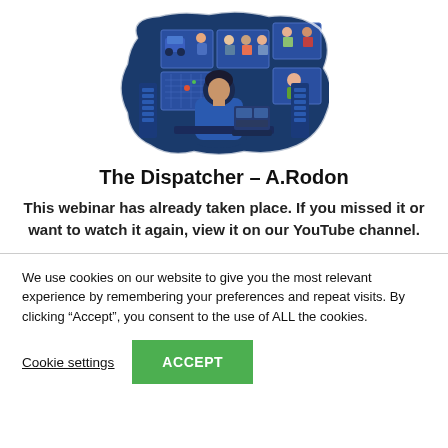[Figure (illustration): Illustration of a dispatcher or control room operator sitting at a desk, facing multiple video screens showing people in various scenes, with a blue dark background and cloud-like outline around the scene.]
The Dispatcher – A.Rodon
This webinar has already taken place. If you missed it or want to watch it again, view it on our YouTube channel.
We use cookies on our website to give you the most relevant experience by remembering your preferences and repeat visits. By clicking “Accept”, you consent to the use of ALL the cookies.
Cookie settings
ACCEPT